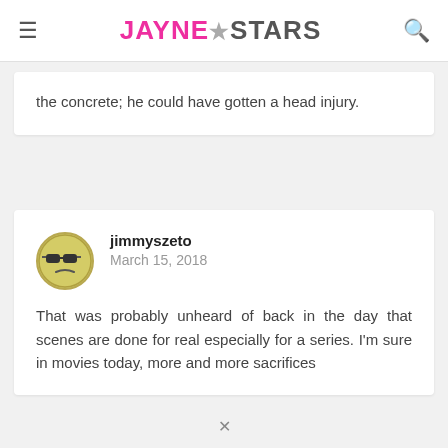JAYNE★STARS
the concrete; he could have gotten a head injury.
jimmyszeto
March 15, 2018
That was probably unheard of back in the day that scenes are done for real especially for a series. I'm sure in movies today, more and more sacrifices